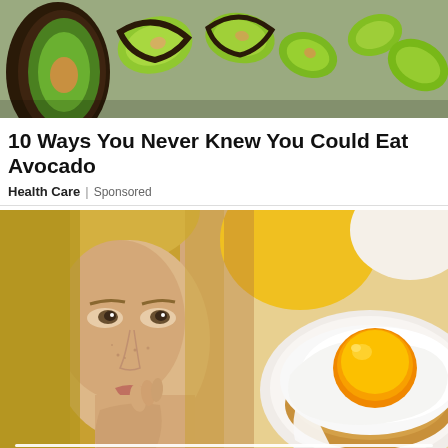[Figure (photo): Overhead view of sliced avocado pieces on a baking sheet, showing green flesh and dark skin]
10 Ways You Never Knew You Could Eat Avocado
Health Care | Sponsored
[Figure (photo): Split image: left side shows a young blonde woman looking sideways with fingers near her mouth; right side shows a fried egg on toast with orange yolk and white egg white, with a yellow cup in the background]